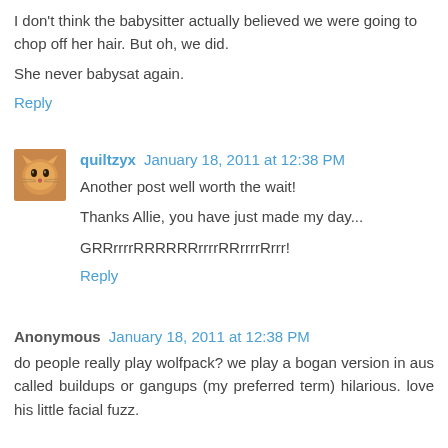I don't think the babysitter actually believed we were going to chop off her hair. But oh, we did.

She never babysat again.
Reply
quiltzyx  January 18, 2011 at 12:38 PM
Another post well worth the wait!

Thanks Allie, you have just made my day...

GRRrrrrRRRRRRrrrrRRrrrrRrrr!
Reply
Anonymous  January 18, 2011 at 12:38 PM
do people really play wolfpack? we play a bogan version in aus called buildups or gangups (my preferred term) hilarious. love his little facial fuzz.